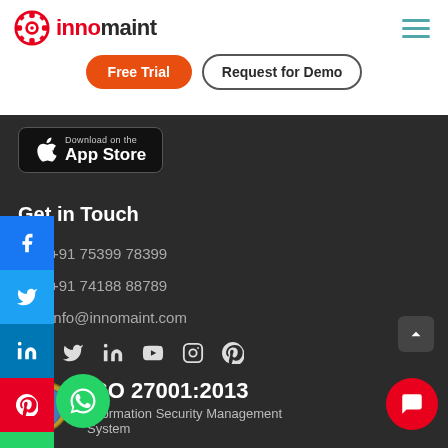[Figure (logo): Innomaint logo with gear icon and red/dark text]
Free Trial
Request for Demo
[Figure (screenshot): App Store download button]
Get in Touch
+91 75399 78399
+91 74188 88789
info@innomaint.com
[Figure (infographic): Social media icons row: Facebook, Twitter, LinkedIn, YouTube, Instagram, Pinterest]
[Figure (logo): ISO 27001:2013 certification badge with heraldic shield]
ISO 27001:2013
Information Security Management System